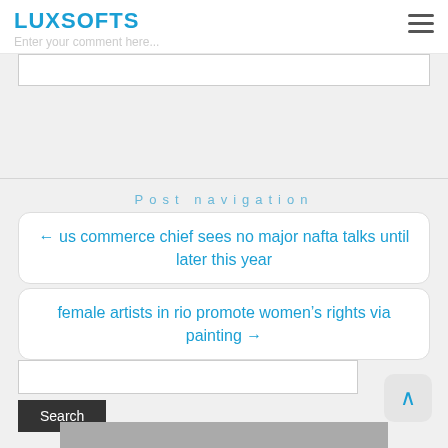LUXSOFTS
Enter your comment here...
Post navigation
← us commerce chief sees no major nafta talks until later this year
female artists in rio promote women's rights via painting →
Search